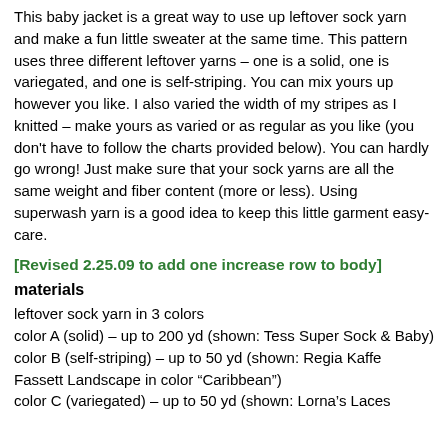This baby jacket is a great way to use up leftover sock yarn and make a fun little sweater at the same time. This pattern uses three different leftover yarns – one is a solid, one is variegated, and one is self-striping. You can mix yours up however you like. I also varied the width of my stripes as I knitted – make yours as varied or as regular as you like (you don't have to follow the charts provided below). You can hardly go wrong! Just make sure that your sock yarns are all the same weight and fiber content (more or less). Using superwash yarn is a good idea to keep this little garment easy-care.
[Revised 2.25.09 to add one increase row to body]
materials
leftover sock yarn in 3 colors
color A (solid) – up to 200 yd (shown: Tess Super Sock & Baby)
color B (self-striping) – up to 50 yd (shown: Regia Kaffe Fassett Landscape in color “Caribbean”)
color C (variegated) – up to 50 yd (shown: Lorna’s Laces